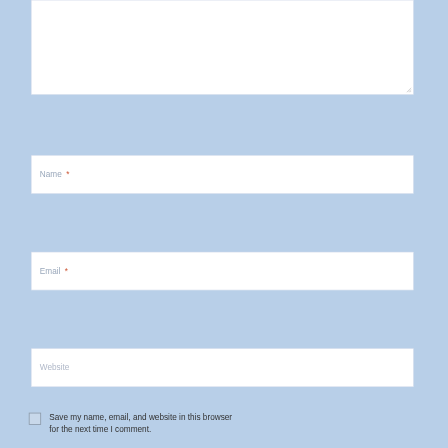[Figure (screenshot): Web comment form with a textarea at the top (partially visible), followed by Name *, Email *, and Website input fields on a light blue background, with a checkbox and text 'Save my name, email, and website in this browser for the next time I comment.' at the bottom.]